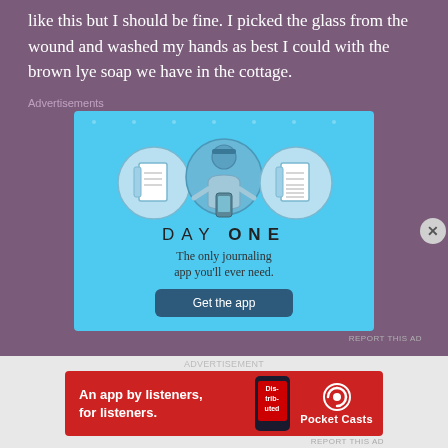like this but I should be fine. I picked the glass from the wound and washed my hands as best I could with the brown lye soap we have in the cottage.
Advertisements
[Figure (illustration): Day One journaling app advertisement with blue background, icons of notebooks and a person using a phone, title DAY ONE, tagline 'The only journaling app you'll ever need.' and a 'Get the app' button.]
[Figure (illustration): Pocket Casts app advertisement on red background: 'An app by listeners, for listeners.' with phone image and Pocket Casts logo.]